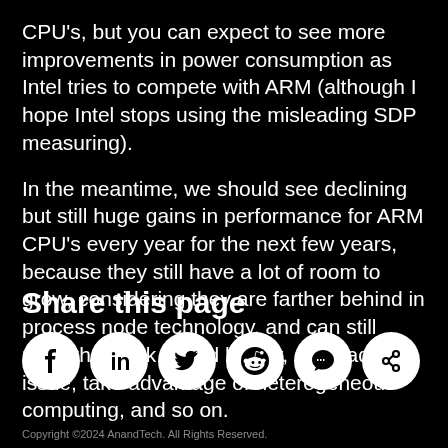CPU's, but you can expect to see more improvements in power consumption as Intel tries to compete with ARM (although I hope Intel stops using the misleading SDP measuring).
In the meantime, we should see declining but still huge gains in performance for ARM CPU's every year for the next few years, because they still have a lot of room to grow, considering they are farther behind in process node technology, and can still raise the clock speed higher, go quad-issue, take advantage of heterogeneous computing, and so on.
Share this page
[Figure (infographic): Social sharing icons: Facebook, LinkedIn, Twitter, Reddit, Comment/Chat, and a link/share icon — each in a white circle on black background.]
Copyright 2024 AnandTech. All Rights Reserved.